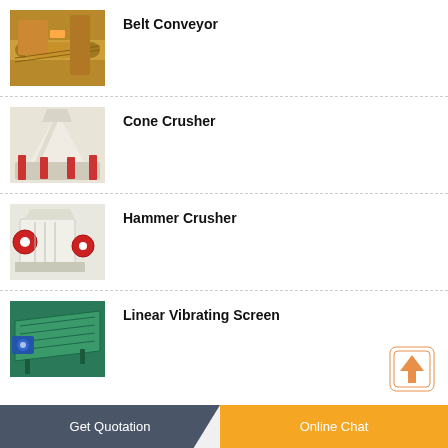Belt Conveyor
[Figure (photo): Belt conveyor machinery photo showing orange/brown industrial conveyor equipment]
Cone Crusher
[Figure (photo): Cone crusher machinery photo showing white and red industrial cone crusher equipment]
Hammer Crusher
[Figure (photo): Hammer crusher machinery photo showing white and red industrial hammer crusher equipment]
Linear Vibrating Screen
[Figure (photo): Linear vibrating screen machinery photo showing teal/green industrial screen equipment]
Get Quotation    Online Chat